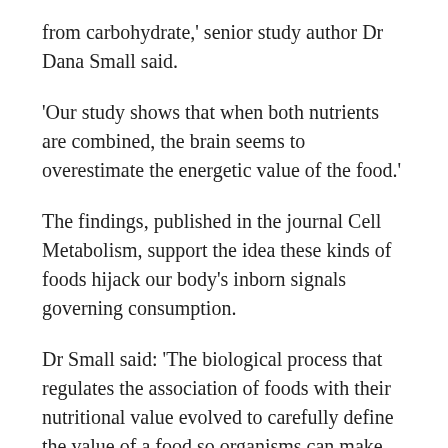from carbohydrate,' senior study author Dr Dana Small said.
'Our study shows that when both nutrients are combined, the brain seems to overestimate the energetic value of the food.'
The findings, published in the journal Cell Metabolism, support the idea these kinds of foods hijack our body's inborn signals governing consumption.
Dr Small said: 'The biological process that regulates the association of foods with their nutritional value evolved to carefully define the value of a food so organisms can make adaptive decisions.
'For...